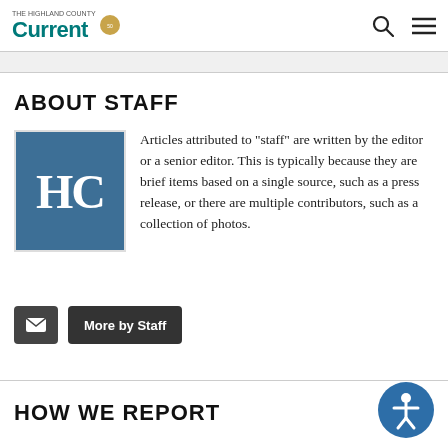The Highland County Current
ABOUT STAFF
[Figure (logo): HC logo — blue square with white HC letters]
Articles attributed to "staff" are written by the editor or a senior editor. This is typically because they are brief items based on a single source, such as a press release, or there are multiple contributors, such as a collection of photos.
More by Staff
HOW WE REPORT